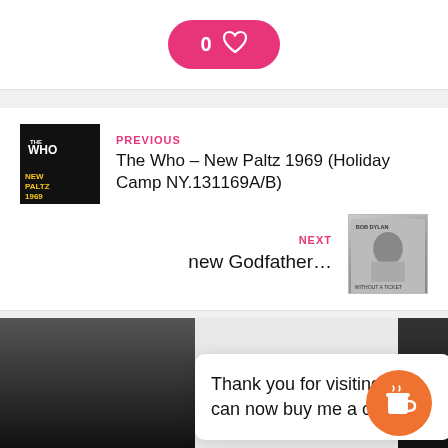[Figure (other): Pink rounded button with '0' and a heart icon]
PREVIOUS
The Who – New Paltz 1969 (Holiday Camp NY.131169A/B)
NEXT
new Godfather…
[Figure (photo): Album cover for The Who – New Paltz 1969]
[Figure (photo): Album/photo cover for Bob Dylan – Without a Ticket]
Relate
Thank you for visiting. You can now buy me a coffee!